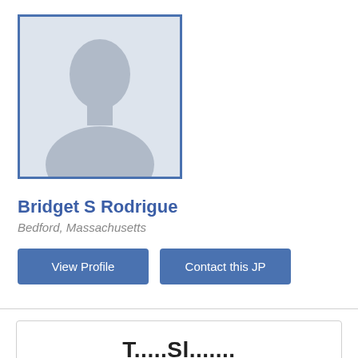[Figure (photo): Default profile silhouette placeholder image with blue border]
Bridget S Rodrigue
Bedford, Massachusetts
View Profile
Contact this JP